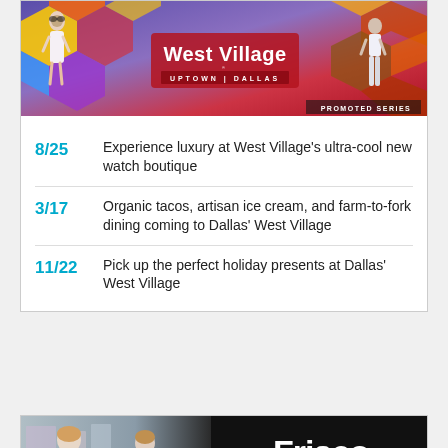[Figure (photo): West Village Uptown Dallas promotional banner with two people and colorful geometric shapes]
8/25 Experience luxury at West Village's ultra-cool new watch boutique
3/17 Organic tacos, artisan ice cream, and farm-to-fork dining coming to Dallas' West Village
11/22 Pick up the perfect holiday presents at Dallas' West Village
[Figure (photo): Frisco - The City That Plays promotional banner with woman holding a tote bag in a shop]